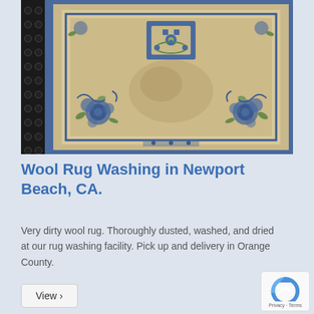[Figure (photo): A decorative oriental wool rug with cream/beige background and blue floral border patterns, photographed from above on a dark textured surface.]
Wool Rug Washing in Newport Beach, CA.
Very dirty wool rug. Thoroughly dusted, washed, and dried at our rug washing facility. Pick up and delivery in Orange County.
View >